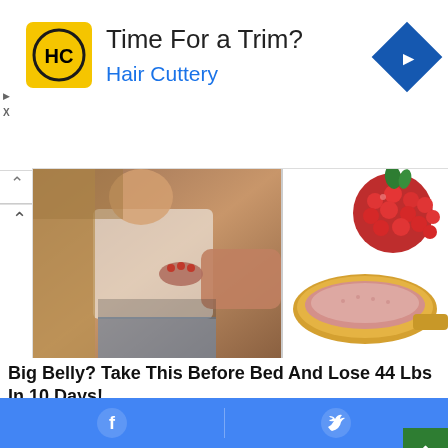[Figure (screenshot): Advertisement banner for Hair Cuttery with yellow HC logo, headline 'Time For a Trim?' and blue subtitle 'Hair Cuttery', with blue diamond navigation arrow icon]
[Figure (photo): Two side-by-side photos: left shows a woman in white top pinching belly fat; right shows a raspberry and a wooden spoon with pink/red powder]
Big Belly? Take This Before Bed And Lose 44 Lbs In 10 Days!
KETO
[Figure (illustration): Cartoon illustration showing female figures with pineapples in teal/yellow color scheme, partially visible at bottom]
[Figure (screenshot): Social share bar with Facebook and Twitter icons on blue background]